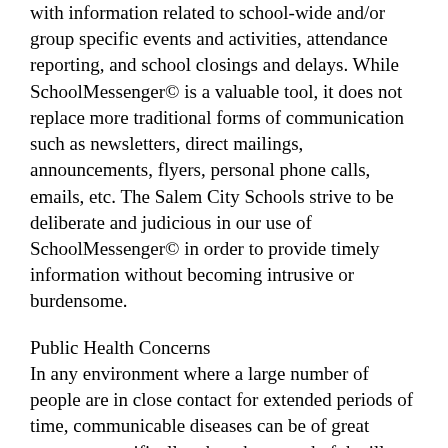with information related to school-wide and/or group specific events and activities, attendance reporting, and school closings and delays. While SchoolMessenger© is a valuable tool, it does not replace more traditional forms of communication such as newsletters, direct mailings, announcements, flyers, personal phone calls, emails, etc. The Salem City Schools strive to be deliberate and judicious in our use of SchoolMessenger© in order to provide timely information without becoming intrusive or burdensome.
Public Health Concerns
In any environment where a large number of people are in close contact for extended periods of time, communicable diseases can be of great concern, specifically when the spread of the illness could have serious consequences. School divisions rely heavily on the state and local health departments when dealing with public health concerns. In the event of a confirmed case of a communicable disease that poses a significant health concern to the public, the local health department will contact the school and advise us on an appropriate communication plan. If you have questions or concerns about a potential public health